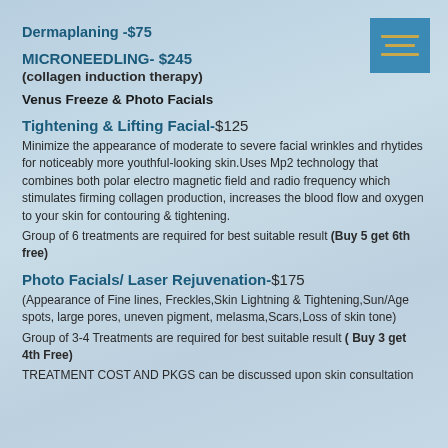Dermaplaning -$75
MICRONEEDLING- $245
(collagen induction therapy)
Venus Freeze & Photo Facials
Tightening & Lifting Facial-$125
Minimize the appearance of moderate to severe facial wrinkles and rhytides for noticeably more youthful-looking skin.Uses Mp2 technology that combines both polar electro magnetic field and radio frequency which stimulates firming collagen production, increases the blood flow and oxygen to your skin for contouring & tightening.
Group of 6 treatments are required for best suitable result (Buy 5 get 6th free)
Photo Facials/ Laser Rejuvenation-$175
(Appearance of Fine lines, Freckles,Skin Lightning & Tightening,Sun/Age spots, large pores, uneven pigment, melasma,Scars,Loss of skin tone)
Group of 3-4 Treatments are required for best suitable result ( Buy 3 get 4th Free)
TREATMENT COST AND PKGS can be discussed upon skin consultation
[Figure (other): Menu hamburger icon: blue rectangle with three golden horizontal lines]